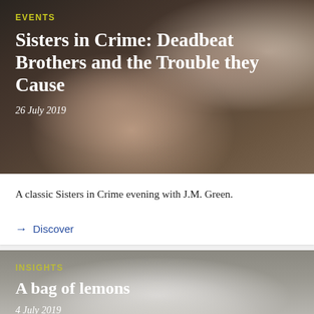[Figure (photo): Portrait of a woman with dark wavy hair against a background with papers/notices pinned to a board, dark moody lighting]
EVENTS
Sisters in Crime: Deadbeat Brothers and the Trouble they Cause
26 July 2019
A classic Sisters in Crime evening with J.M. Green.
→ Discover
[Figure (photo): Close-up of a person with grey-streaked hair, head facing slightly downward, muted tones]
INSIGHTS
A bag of lemons
4 July 2019